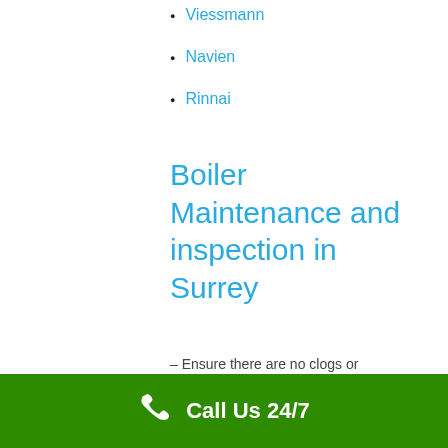Viessmann
Navien
Rinnai
Boiler Maintenance and inspection in Surrey
– Ensure there are no clogs or blockages
– Inspect the chimney and exhaust vents
– Check function of pilot light or electric ignition
Call Us 24/7